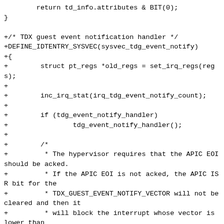return td_info.attributes & BIT(0);
}

+/* TDX guest event notification handler */
+DEFINE_IDTENTRY_SYSVEC(sysvec_tdg_event_notify)
+{
+        struct pt_regs *old_regs = set_irq_regs(regs);
+
+        inc_irq_stat(irq_tdg_event_notify_count);
+
+        if (tdg_event_notify_handler)
+                tdg_event_notify_handler();
+
+        /*
+         * The hypervisor requires that the APIC EOI should be acked.
+         * If the APIC EOI is not acked, the APIC ISR bit for the
+         * TDX_GUEST_EVENT_NOTIFY_VECTOR will not be cleared and then it
+         * will block the interrupt whose vector is lower than
+         * TDX_GUEST_EVENT_NOTIFY_VECTOR.
+         */
+        ack_APIC_irq();
+
+        set_irq_regs(old_regs);
+}
+
  /*